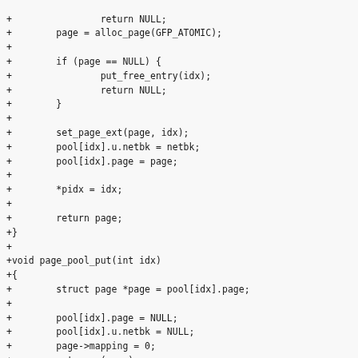Code diff showing page_pool_put function implementation in C